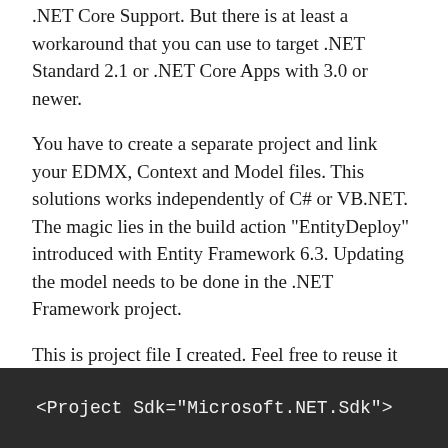.NET Core Support. But there is at least a workaround that you can use to target .NET Standard 2.1 or .NET Core Apps with 3.0 or newer.
You have to create a separate project and link your EDMX, Context and Model files. This solutions works independently of C# or VB.NET. The magic lies in the build action "EntityDeploy" introduced with Entity Framework 6.3. Updating the model needs to be done in the .NET Framework project.
This is project file I created. Feel free to reuse it but change vb to cs in case you want to use it with a C# model.
<Project Sdk="Microsoft.NET.Sdk">